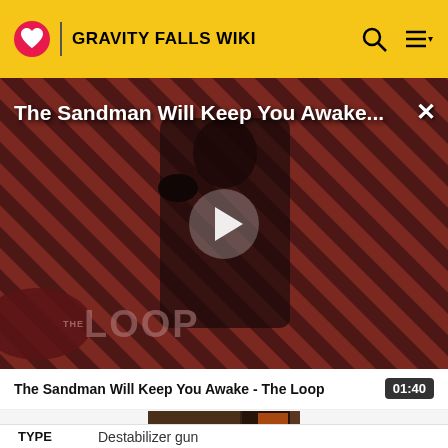GRAVITY FALLS WIKI
[Figure (screenshot): Video player showing 'The Sandman Will Keep You Awake...' with a dark-clad figure against a striped red/brown background, a play button in the center, and 'THE LOOP' branding at the bottom left.]
The Sandman Will Keep You Awake - The Loop  01:40
[Figure (screenshot): Thumbnail image strip showing a small preview of content in dark browns and orange accents]
TYPE    Destabilizer gun